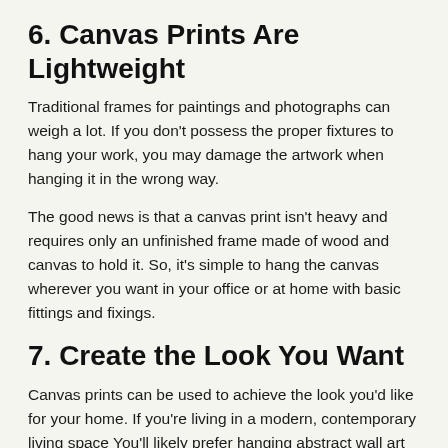6. Canvas Prints Are Lightweight
Traditional frames for paintings and photographs can weigh a lot. If you don't possess the proper fixtures to hang your work, you may damage the artwork when hanging it in the wrong way.
The good news is that a canvas print isn't heavy and requires only an unfinished frame made of wood and canvas to hold it. So, it's simple to hang the canvas wherever you want in your office or at home with basic fittings and fixings.
7. Create the Look You Want
Canvas prints can be used to achieve the look you'd like for your home. If you're living in a modern, contemporary living space You'll likely prefer hanging abstract wall art more so than be able to hang beach art.
But the great thing about Canvas prints lies in the way that